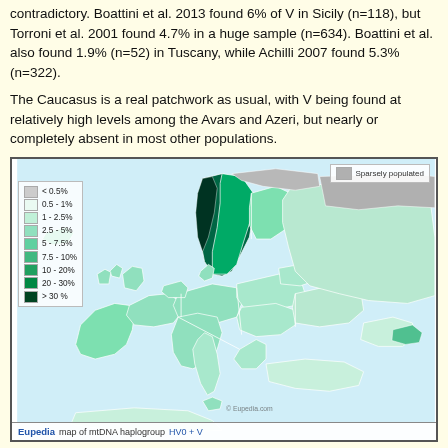contradictory. Boattini et al. 2013 found 6% of V in Sicily (n=118), but Torroni et al. 2001 found 4.7% in a huge sample (n=634). Boattini et al. also found 1.9% (n=52) in Tuscany, while Achilli 2007 found 5.3% (n=322).
The Caucasus is a real patchwork as usual, with V being found at relatively high levels among the Avars and Azeri, but nearly or completely absent in most other populations.
[Figure (map): Eupedia map of mtDNA haplogroup HV0 + V showing distribution across Europe and surrounding regions. Color-coded by frequency: dark gray for sparsely populated, white for <0.5%, light green shades for 0.5-1%, 1-2.5%, 2.5-5%, 5-7.5%, 7.5-10%, medium green for 10-20%, dark green for 20-30%, darkest green for >30%. Scandinavia and northern Norway show highest concentrations (>30%). Most of Europe shows 2.5-10% range. Caucasus region shows patchy distribution.]